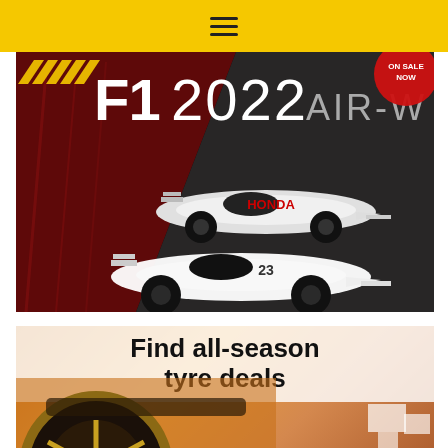≡
[Figure (illustration): F1 2022 promotional image showing two Formula 1 racing cars in black and white with red-tinted background, text reading 'F1 2022' and 'AIR-W' visible, with a circular badge in the top right corner]
[Figure (photo): Promotional banner for tyre deals showing a close-up of a car wheel and tyre on a warm amber/orange background with text 'Find all-season tyre deals' in bold black on a semi-transparent white overlay, and decorative white rectangles in the bottom right]